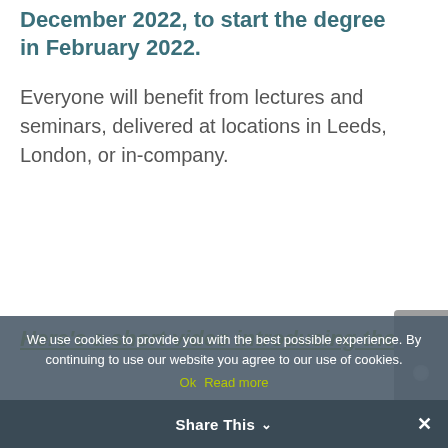December 2022, to start the degree in February 2022.
Everyone will benefit from lectures and seminars, delivered at locations in Leeds, London, or in-company.
Here's a short video introducing the
We use cookies to provide you with the best possible experience. By continuing to use our website you agree to our use of cookies.
Ok  Read more
Share This